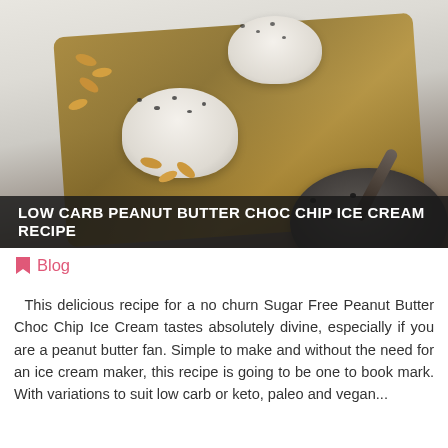[Figure (photo): Overhead photo of two small white bowls with scoops of peanut butter chocolate chip ice cream on a wooden board, peanuts scattered around, and a large dark bowl with a spoon in the bottom right corner, on a white wood surface.]
LOW CARB PEANUT BUTTER CHOC CHIP ICE CREAM RECIPE
Blog
This delicious recipe for a no churn Sugar Free Peanut Butter Choc Chip Ice Cream tastes absolutely divine, especially if you are a peanut butter fan. Simple to make and without the need for an ice cream maker, this recipe is going to be one to book mark. With variations to suit low carb or keto, paleo and vegan...